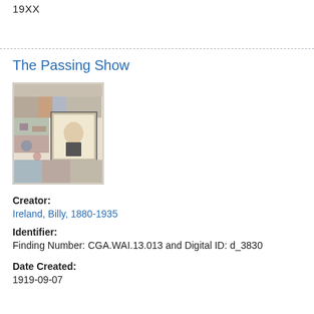19XX
[Figure (illustration): Illustrated collage showing multiple cartoon figures and scenes surrounding a central portrait of a man in military-style uniform, appearing to be a newspaper or magazine illustration page.]
The Passing Show
Creator:
Ireland, Billy, 1880-1935
Identifier:
Finding Number: CGA.WAI.13.013 and Digital ID: d_3830
Date Created:
1919-09-07